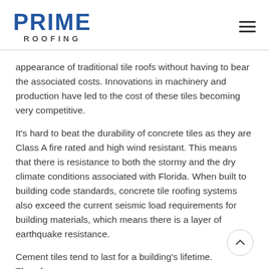PRIME ROOFING
appearance of traditional tile roofs without having to bear the associated costs. Innovations in machinery and production have led to the cost of these tiles becoming very competitive.
It’s hard to beat the durability of concrete tiles as they are Class A fire rated and high wind resistant. This means that there is resistance to both the stormy and the dry climate conditions associated with Florida. When built to building code standards, concrete tile roofing systems also exceed the current seismic load requirements for building materials, which means there is a layer of earthquake resistance.
Cement tiles tend to last for a building’s lifetime. Therefore,